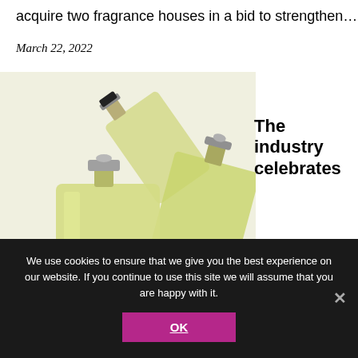acquire two fragrance houses in a bid to strengthen...
March 22, 2022
[Figure (photo): Three perfume/fragrance bottles arranged together on white background — two rectangular flat bottles and one taller bottle, all with yellow-green liquid inside and metallic spray tops]
The industry celebrates
International Fragrance Day
The Fragrance Foundation, brands, retailers and fragrance
We use cookies to ensure that we give you the best experience on our website. If you continue to use this site we will assume that you are happy with it.
OK